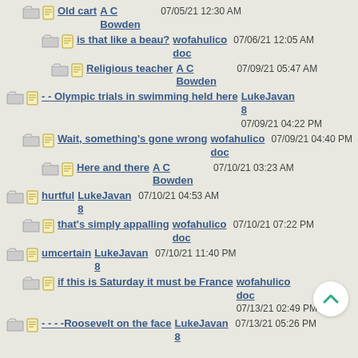Old cart — A C Bowden — 07/05/21 12:30 AM
is that like a beau? — wofahulicodoc — 07/06/21 12:05 AM
Religious teacher — A C Bowden — 07/09/21 05:47 AM
- - Olympic trials in swimming held here — LukeJavan8 — 07/09/21 04:22 PM
Wait, something's gone wrong — wofahulicodoc — 07/09/21 04:40 PM
Here and there — A C Bowden — 07/10/21 03:23 AM
hurtful — LukeJavan8 — 07/10/21 04:53 AM
that's simply appalling — wofahulicodoc — 07/10/21 07:22 PM
umcertain — LukeJavan8 — 07/10/21 11:40 PM
if this is Saturday it must be France — wofahulicodoc — 07/13/21 02:49 PM
- - - -Roosevelt on the face — LukeJavan8 — 07/13/21 05:26 PM